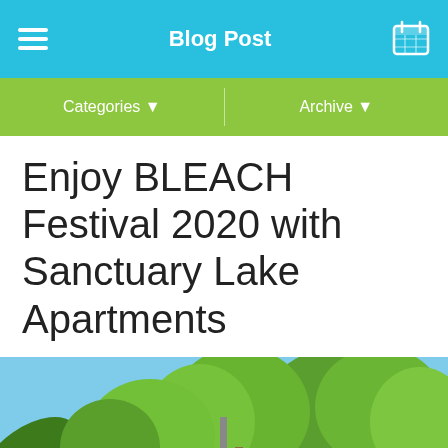Blog Post
Categories ▾   Archive ▾
Enjoy BLEACH Festival 2020 with Sanctuary Lake Apartments
[Figure (photo): Outdoor balcony view with green trees, palm fronds, blue sky, metal railing, and a chair visible in the background]